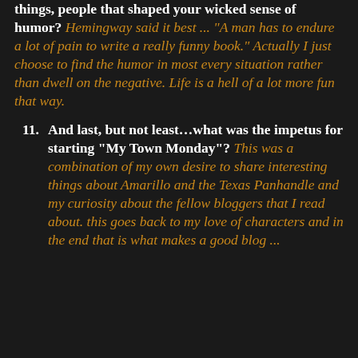things, people that shaped your wicked sense of humor? Hemingway said it best ... "A man has to endure a lot of pain to write a really funny book." Actually I just choose to find the humor in most every situation rather than dwell on the negative. Life is a hell of a lot more fun that way.
11. And last, but not least…what was the impetus for starting "My Town Monday"? This was a combination of my own desire to share interesting things about Amarillo and the Texas Panhandle and my curiosity about the fellow bloggers that I read about. this goes back to my love of characters and in the end that is what makes a good blog ...